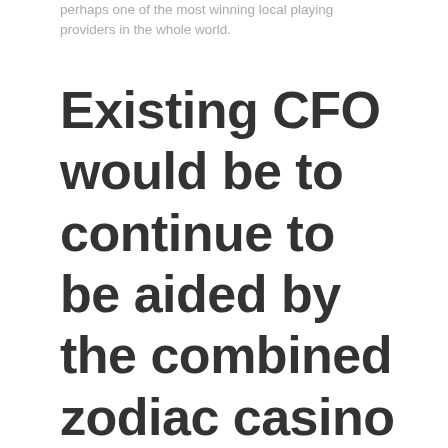perhaps one of the most winning local playing providers in the whole world.
Existing CFO would be to continue to be aided by the combined zodiac casino review group until Tiger Palace's Opening